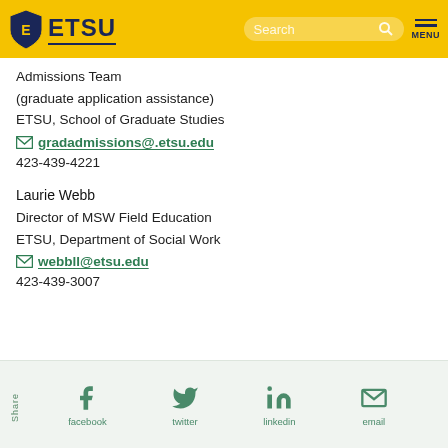ETSU header with logo, search bar, and menu
Admissions Team
(graduate application assistance)
ETSU, School of Graduate Studies
gradadmissions@.etsu.edu
423-439-4221
Laurie Webb
Director of MSW Field Education
ETSU, Department of Social Work
webbll@etsu.edu
423-439-3007
Share | facebook | twitter | linkedin | email